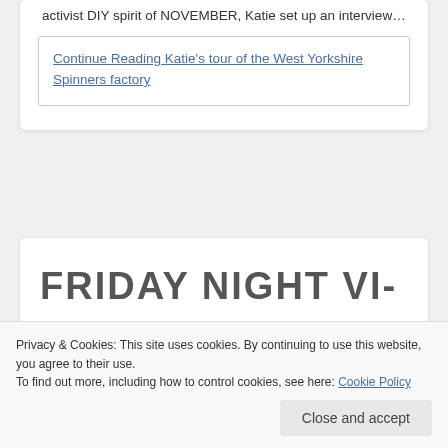activist DIY spirit of NOVEMBER, Katie set up an interview…
Continue Reading Katie's tour of the West Yorkshire Spinners factory
FRIDAY NIGHT VI-
Privacy & Cookies: This site uses cookies. By continuing to use this website, you agree to their use.
To find out more, including how to control cookies, see here: Cookie Policy
Close and accept